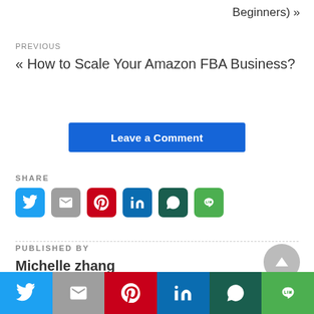Beginners) »
PREVIOUS
« How to Scale Your Amazon FBA Business?
Leave a Comment
SHARE
[Figure (infographic): Row of social media share icons: Twitter (blue), Gmail (gray), Pinterest (red/white), LinkedIn (blue), WhatsApp (dark green), Line (green)]
PUBLISHED BY
Michelle zhang
[Figure (infographic): Bottom bar with six colored sections showing social media icons: Twitter, Gmail, Pinterest, LinkedIn, WhatsApp, Line]